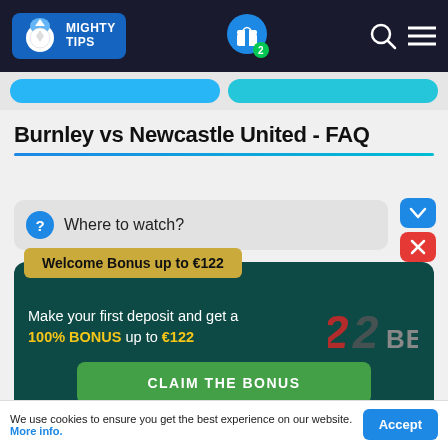MIGHTY TIPS
Burnley vs Newcastle United - FAQ
Where to watch?
Welcome Bonus up to €122
Make your first deposit and get a 100% BONUS up to €122
CLAIM THE BONUS
We use cookies to ensure you get the best experience on our website. More info.